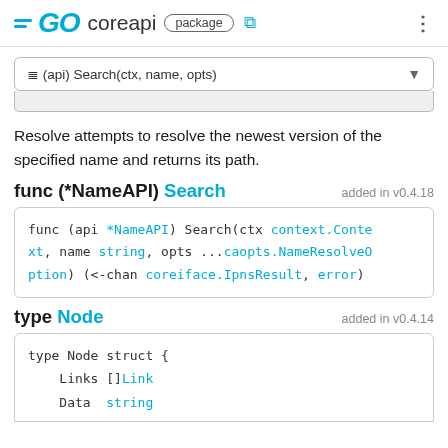GO coreapi package
(api) Search(ctx, name, opts)
Resolve attempts to resolve the newest version of the specified name and returns its path.
func (*NameAPI) Search  added in v0.4.18
func (api *NameAPI) Search(ctx context.Context, name string, opts ...caopts.NameResolveOption) (<-chan coreiface.IpnsResult, error)
type Node  added in v0.4.14
type Node struct {
    Links []Link
    Data  string